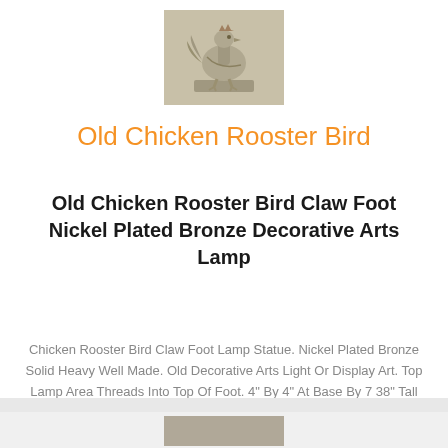[Figure (photo): A nickel plated bronze rooster bird lamp statue on a square base, photographed against white background]
Old Chicken Rooster Bird
Old Chicken Rooster Bird Claw Foot Nickel Plated Bronze Decorative Arts Lamp
Chicken Rooster Bird Claw Foot Lamp Statue. Nickel Plated Bronze Solid Heavy Well Made. Old Decorative Arts Light Or Display Art. Top Lamp Area Threads Into Top Of Foot. 4" By 4" At Base By 7 38" Tall Picture 1.